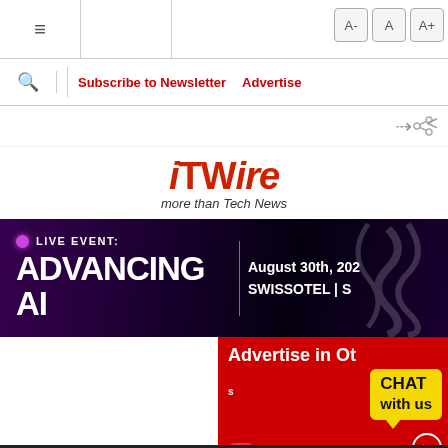≡  A-  A  A+
🔍  Subscribe to Newsletter  Advertise
< (share icon)
[Figure (logo): iTWire logo with tagline 'more than Tech News']
[Figure (infographic): Live Event banner: ADVANCING AI, August 30th, 2023, SWISSOTEL]
[Figure (infographic): Advertise in Other panel with CHAT with us bubble and play button]